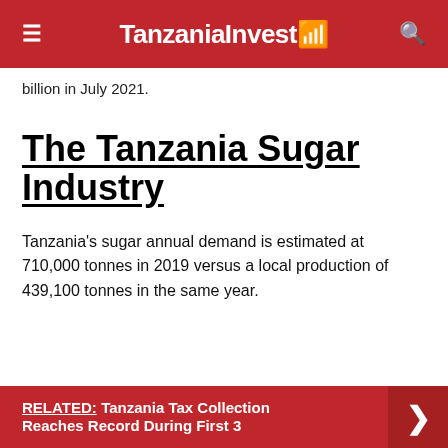TanzaniaInvest
billion in July 2021.
The Tanzania Sugar Industry
Tanzania's sugar annual demand is estimated at 710,000 tonnes in 2019 versus a local production of 439,100 tonnes in the same year.
RELATED: Tanzania Tax Collection Reaches Record During First 3